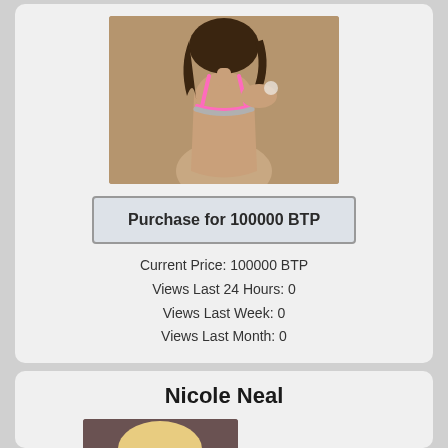[Figure (photo): Back view of a woman wearing a pink bra with straps, brown background]
Purchase for 100000 BTP
Current Price: 100000 BTP
Views Last 24 Hours: 0
Views Last Week: 0
Views Last Month: 0
Nicole Neal
[Figure (photo): Portrait of a blonde woman, dark/muted background]
Quests